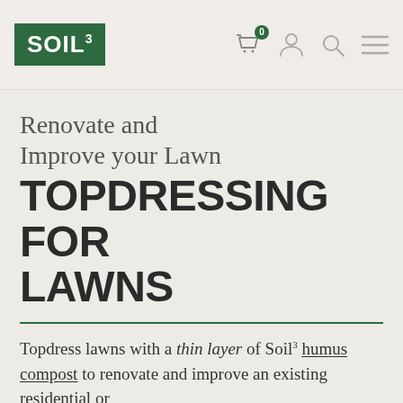SOIL3 [logo] — navigation icons: cart (0), user, search, menu
Renovate and Improve your Lawn TOPDRESSING FOR LAWNS
Topdress lawns with a thin layer of Soil3 humus compost to renovate and improve an existing residential or commercial field